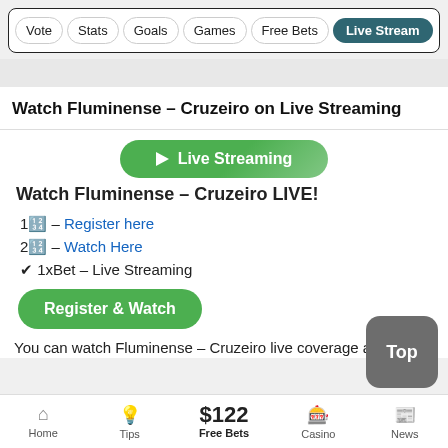Vote | Stats | Goals | Games | Free Bets | Live Stream
Watch Fluminense - Cruzeiro on Live Streaming
[Figure (other): Green Live Streaming button with play icon]
Watch Fluminense - Cruzeiro LIVE!
1🔢 - Register here
2🔢 - Watch Here
✔ 1xBet - Live Streaming
[Figure (other): Green Register & Watch button]
You can watch Fluminense - Cruzeiro live coverage and video
Home | Tips | $122 Free Bets | Casino | News